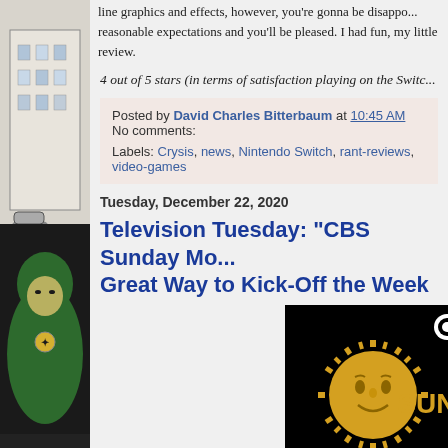line graphics and effects, however, you're gonna be disappointed. Have reasonable expectations and you'll be pleased. I had fun, my little review.
4 out of 5 stars (in terms of satisfaction playing on the Switch)
Posted by David Charles Bitterbaum at 10:45 AM   No comments:
Labels: Crysis, news, Nintendo Switch, rant-reviews, video-games
Tuesday, December 22, 2020
Television Tuesday: "CBS Sunday Morning" is a Great Way to Kick-Off the Week
[Figure (photo): CBS News Sunday Morning logo — gold/yellow sun face on black background with text 'CBS NEWS SUNDAY MORNING']